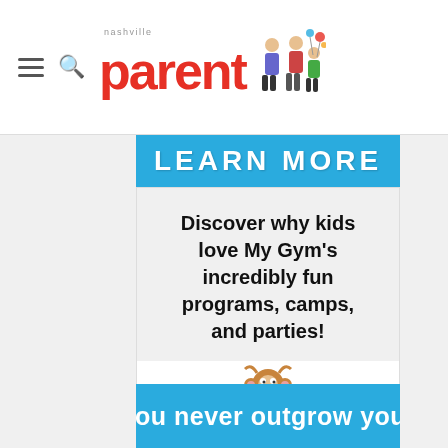nashville parent
[Figure (logo): Nashville Parent magazine logo with cartoon family illustration]
[Figure (illustration): Blue banner with white bold text: LEARN MORE]
Discover why kids love My Gym's incredibly fun programs, camps, and parties!
[Figure (logo): My Gym Children's Fitness Center circular logo with cartoon monkey]
[Figure (illustration): Blue banner at bottom with white bold text: You never outgrow your]